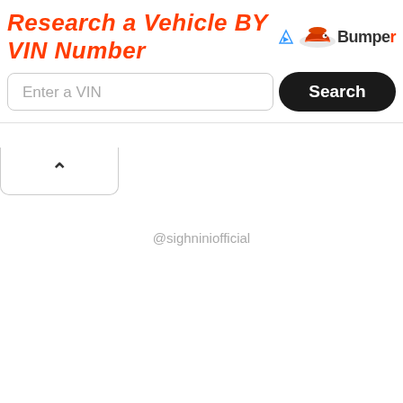[Figure (screenshot): Advertisement banner for Bumper VIN lookup service with orange italic bold heading 'Research a Vehicle BY VIN Number', Bumper logo with hat icon, a text input field 'Enter a VIN', and a black 'Search' button. Below is a collapse chevron button. In the middle of the mostly white page is a watermark '@sighniniofficial'.]
@sighniniofficial